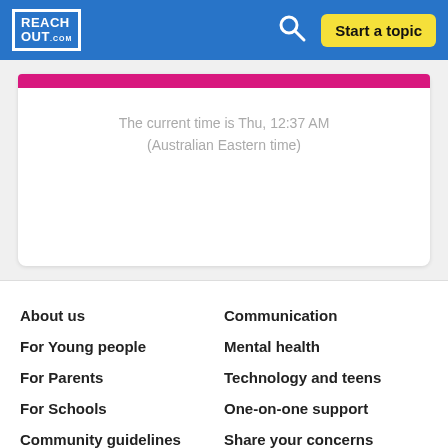REACH OUT .com
The current time is Thu, 12:37 AM (Australian Eastern time)
About us
Communication
For Young people
Mental health
For Parents
Technology and teens
For Schools
One-on-one support
Community guidelines
Share your concerns